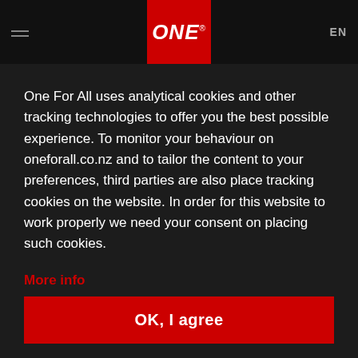[Figure (logo): ONE For All logo — white italic text 'ONE' with registered trademark symbol on red background square in navigation header]
EN
One For All uses analytical cookies and other tracking technologies to offer you the best possible experience. To monitor your behaviour on oneforall.co.nz and to tailor the content to your preferences, third parties are also place tracking cookies on the website. In order for this website to work properly we need your consent on placing such cookies.
More info
OK, I agree